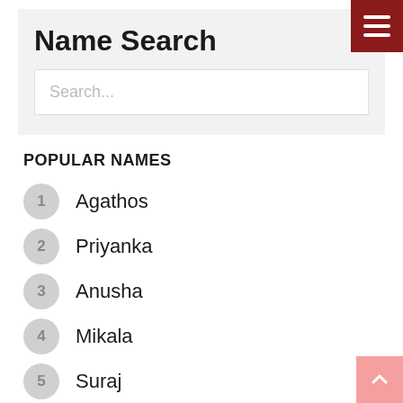Name Search
Search...
POPULAR NAMES
1 Agathos
2 Priyanka
3 Anusha
4 Mikala
5 Suraj
6 Sanjana